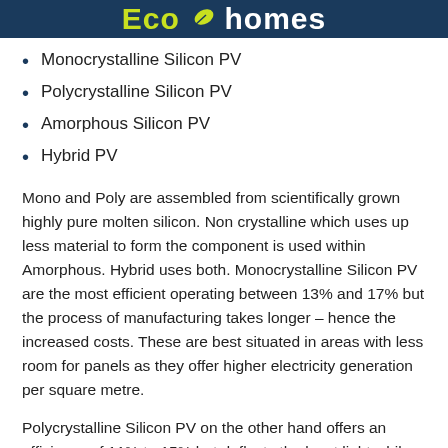EcoHomes
Monocrystalline Silicon PV
Polycrystalline Silicon PV
Amorphous Silicon PV
Hybrid PV
Mono and Poly are assembled from scientifically grown highly pure molten silicon. Non crystalline which uses up less material to form the component is used within Amorphous. Hybrid uses both. Monocrystalline Silicon PV are the most efficient operating between 13% and 17% but the process of manufacturing takes longer – hence the increased costs. These are best situated in areas with less room for panels as they offer higher electricity generation per square metre.
Polycrystalline Silicon PV on the other hand offers an efficiency of 11% to 15% but deflects the least light while absorbing the most. The creation of the silicon